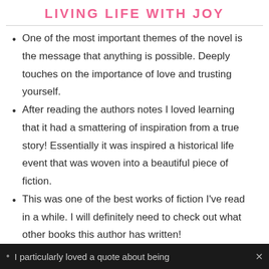LIVING LIFE WITH JOY
One of the most important themes of the novel is the message that anything is possible. Deeply touches on the importance of love and trusting yourself.
After reading the authors notes I loved learning that it had a smattering of inspiration from a true story! Essentially it was inspired a historical life event that was woven into a beautiful piece of fiction.
This was one of the best works of fiction I've read in a while. I will definitely need to check out what other books this author has written!
I particularly loved a quote about being